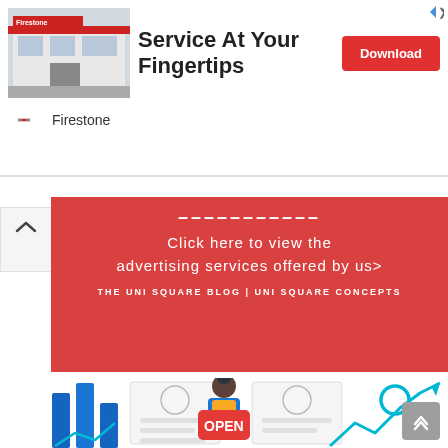[Figure (screenshot): Firestone auto service advertisement banner with store image, 'Service At Your Fingertips' text, and Download button]
[Figure (infographic): Red promotional banner for Uni Square Blog advertising services with text 'Click here to view the advertising services offered by us>' and 'THE UNI SQUARE BLOG | UNI SQUARE CONCEPTS']
[Figure (illustration): Illustration of a woman holding an OPEN sign surrounded by business growth charts, bar charts, and bank building icons]